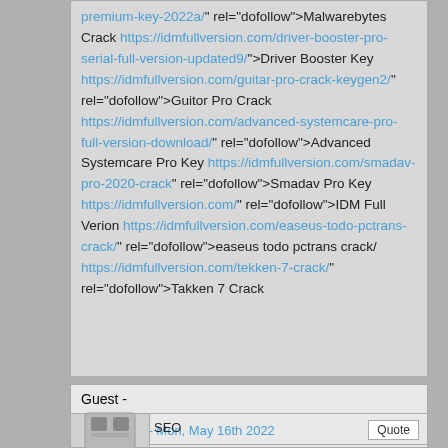premium-key-2022a/" rel="dofollow">Malwarebytes Crack https://idmfullversion.com/driver-booster-pro-serial-full-version-updated9/">Driver Booster Key https://idmfullversion.com/guitar-pro-crack-keygen2/" rel="dofollow">Guitor Pro Crack https://idmfullversion.com/advanced-systemcare-pro-full-version-download/" rel="dofollow">Advanced Systemcare Pro Key https://idmfullversion.com/smadav-pro-2020-crack" rel="dofollow">Smadav Pro Key https://idmfullversion.com/" rel="dofollow">IDM Full Verion https://idmfullversion.com/easeus-todo-pctrans-crack/" rel="dofollow">easeus todo pctrans crack/ https://idmfullversion.com/tekken-7-crack/" rel="dofollow">Takken 7 Crack
Guest -
6:19:41 AM - Mon, May 16th 2022
SEO